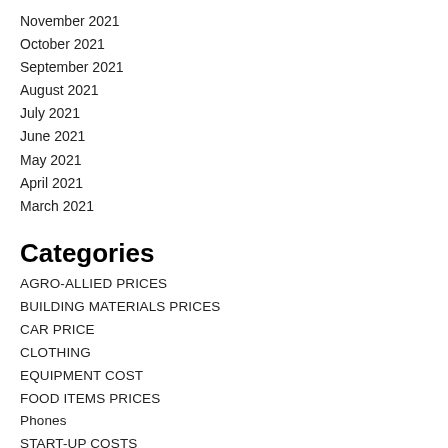November 2021
October 2021
September 2021
August 2021
July 2021
June 2021
May 2021
April 2021
March 2021
Categories
AGRO-ALLIED PRICES
BUILDING MATERIALS PRICES
CAR PRICE
CLOTHING
EQUIPMENT COST
FOOD ITEMS PRICES
Phones
START-UP COSTS